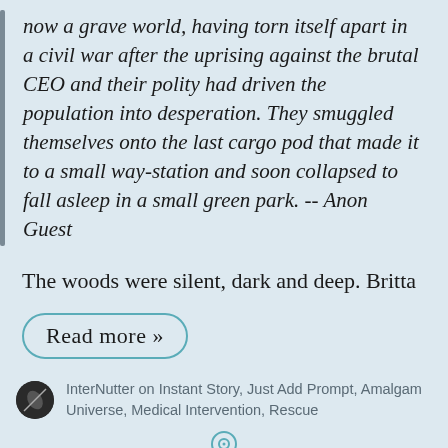now a grave world, having torn itself apart in a civil war after the uprising against the brutal CEO and their polity had driven the population into desperation. They smuggled themselves onto the last cargo pod that made it to a small way-station and soon collapsed to fall asleep in a small green park. -- Anon Guest
The woods were silent, dark and deep. Britta
Read more »
InterNutter on Instant Story, Just Add Prompt, Amalgam Universe, Medical Intervention, Rescue
Challenge #03332-I044: Don't Try